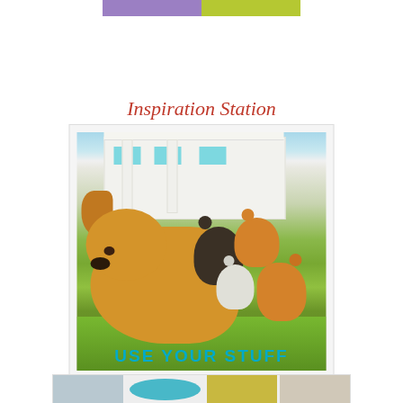[Figure (illustration): Partial top bar showing purple and green color swatches/rectangles at the top of the page]
Inspiration Station
[Figure (photo): Photo of a golden retriever dog lying on green grass surrounded by several kittens of various colors (tabby, black, orange, and black-and-white), with a white building/house in the background]
USE YOUR STUFF
[Figure (photo): Partial bottom strip showing four small thumbnail images partially visible at the bottom of the page]